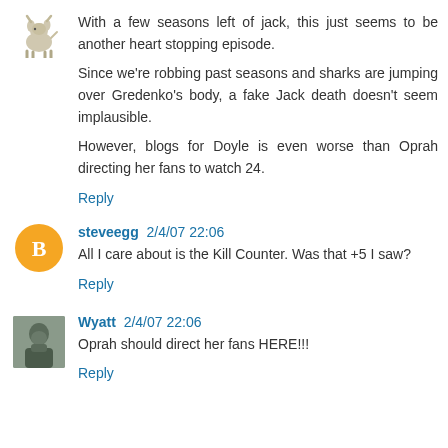With a few seasons left of jack, this just seems to be another heart stopping episode.

Since we're robbing past seasons and sharks are jumping over Gredenko's body, a fake Jack death doesn't seem implausible.

However, blogs for Doyle is even worse than Oprah directing her fans to watch 24.
Reply
steveegg 2/4/07 22:06
All I care about is the Kill Counter. Was that +5 I saw?
Reply
Wyatt 2/4/07 22:06
Oprah should direct her fans HERE!!!
Reply